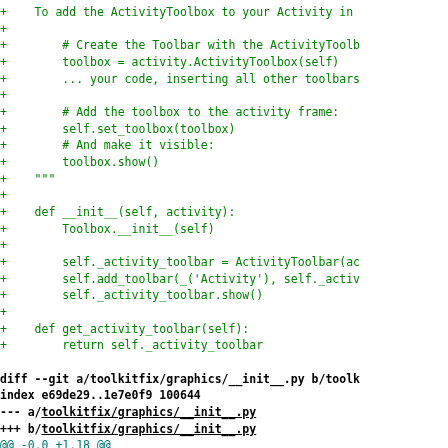diff --git code block showing additions to toolbox/__init__.py and graphics/__init__.py files
diff --git a/toolkitfix/graphics/__init__.py b/toolkitfix/graphics/__init__.py
index e69de29..1e7e0f9 100644
--- a/toolkitfix/graphics/__init__.py
+++ b/toolkitfix/graphics/__init__.py
@@ -0,0 +1,18 @@
+"""Graphics/controls for use in Sugar"""
+
+# Copyright (C) 2006-2007, Red Hat, Inc.